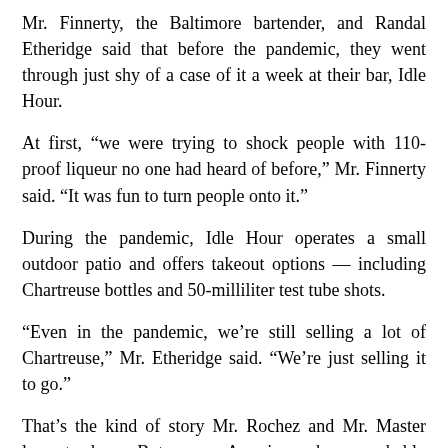Mr. Finnerty, the Baltimore bartender, and Randal Etheridge said that before the pandemic, they went through just shy of a case of it a week at their bar, Idle Hour.
At first, “we were trying to shock people with 110-proof liqueur no one had heard of before,” Mr. Finnerty said. “It was fun to turn people onto it.”
During the pandemic, Idle Hour operates a small outdoor patio and offers takeout options — including Chartreuse bottles and 50-milliliter test tube shots.
“Even in the pandemic, we’re still selling a lot of Chartreuse,” Mr. Etheridge said. “We’re just selling it to go.”
That’s the kind of story Mr. Rochez and Mr. Master love to hear. But many Americans have probably enjoyed the taste of Chartreuse in mixed drinks without ever learning its name. At the pandemic’s onset, the challenge of persuading